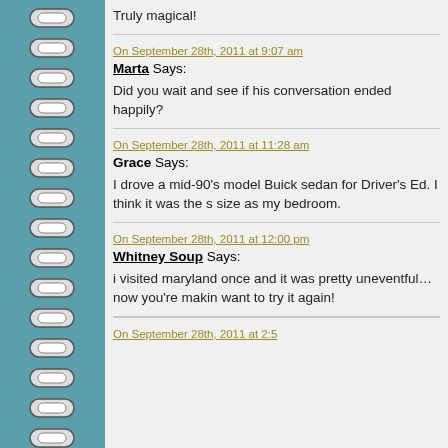Truly magical!
On September 28th, 2011 at 9:07 am
Marta Says:
Did you wait and see if his conversation ended happily?
On September 28th, 2011 at 11:28 am
Grace Says:
I drove a mid-90's model Buick sedan for Driver's Ed. I think it was the s size as my bedroom.
On September 28th, 2011 at 12:00 pm
Whitney Soup Says:
i visited maryland once and it was pretty uneventful… now you're makin want to try it again!